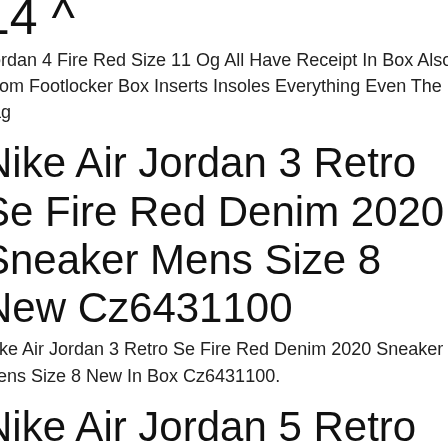14 ^
Jordan 4 Fire Red Size 11 Og All Have Receipt In Box Also From Footlocker Box Inserts Insoles Everything Even The Tag
Nike Air Jordan 3 Retro Se Fire Red Denim 2020 Sneaker Mens Size 8 New Cz6431100
Nike Air Jordan 3 Retro Se Fire Red Denim 2020 Sneaker Mens Size 8 New In Box Cz6431100.
Nike Air Jordan 5 Retro Top 3 Size 8 Fire Red / Black / New Emerald Cz1786-001
Nike Air Jordan 5 Retro Top 3 Size 8 Fire Red Black New Emerald Cz1786-001 Authentic. Brand New In Box. Minor Scrathes On The Box.